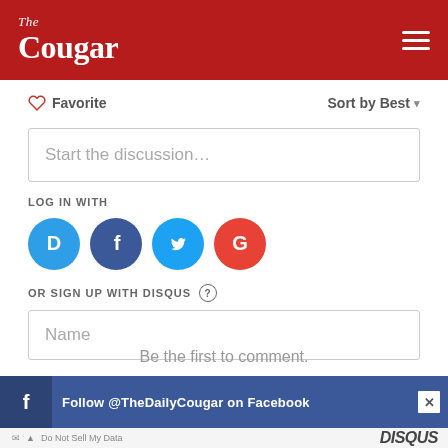[Figure (logo): The Cougar newspaper logo in white serif text on red background with hamburger menu icon]
♡ Favorite    Sort by Best ▾
Start the discussion…
LOG IN WITH
[Figure (infographic): Social login icons: Disqus (D), Facebook (F), Twitter bird, Google (G)]
OR SIGN UP WITH DISQUS ?
Name
Be the first to comment.
[Figure (screenshot): Facebook banner ad: Follow @TheDailyCougar on Facebook with close button]
DISQUS